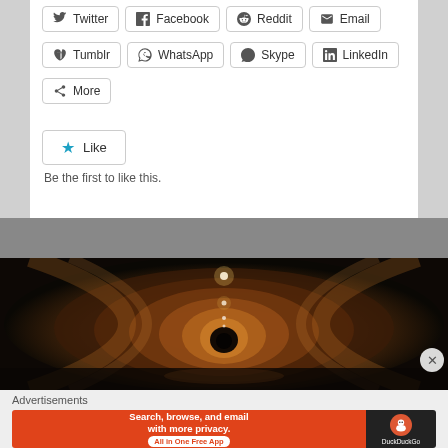Twitter
Facebook
Reddit
Email
Tumblr
WhatsApp
Skype
LinkedIn
More
Like
Be the first to like this.
[Figure (photo): Dark tunnel corridor with warm golden-amber lighting along the curved walls, receding into the distance with a bright light at the far end.]
Advertisements
[Figure (screenshot): DuckDuckGo advertisement banner: orange left panel with text 'Search, browse, and email with more privacy. All in One Free App', dark right panel with DuckDuckGo logo and text 'DuckDuckGo'.]